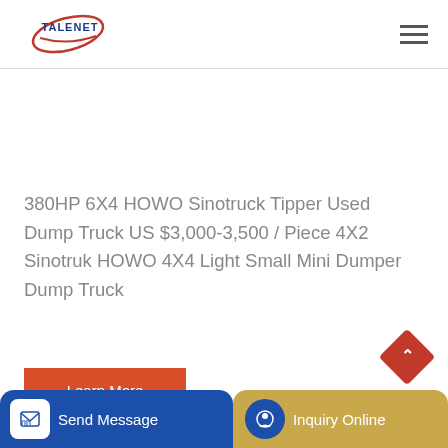[Figure (logo): TALENET logo - blue text with red ellipse/orbit graphic]
380HP 6X4 HOWO Sinotruck Tipper Used Dump Truck US $3,000-3,500 / Piece 4X2 Sinotruk HOWO 4X4 Light Small Mini Dumper Dump Truck
Learn More
[Figure (photo): Partial view of SINOTRUK dump truck image at bottom of page]
Send Message
Inquiry Online